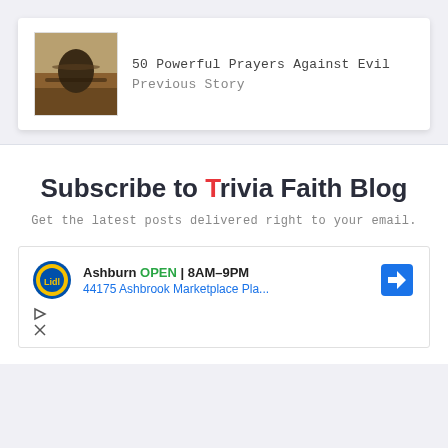[Figure (photo): Card with thumbnail image of a person with arms outstretched in a field, with text '50 Powerful Prayers Against Evil' and 'Previous Story']
Subscribe to Trivia Faith Blog
Get the latest posts delivered right to your email.
[Figure (screenshot): Advertisement for Lidl in Ashburn showing OPEN 8AM-9PM, address 44175 Ashbrook Marketplace Pla..., with a navigation arrow icon]